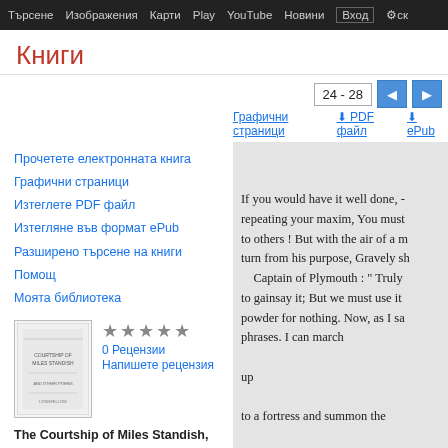Търсене  Изображения  Карти  Play  YouTube  Новини  Вход  ск
Книги
24 - 28
Графични страници  ⬇ PDF файл  ⬇ ePub
Прочетете електронната книга
Графични страници
Изтеглете PDF файл
Изтегляне във формат ePub
Разширено търсене на книги
Помощ
Моята библиотека
0 Рецензии
Напишете рецензия
The Courtship of Miles Standish, and Other Poems
If you would have it well done, -
repeating your maxim, You must
to others ! But with the air of a m
turn from his purpose, Gravely sh
Captain of Plymouth : " Truly
to gainsay it; But we must use it
powder for nothing. Now, as I sa
phrases. I can march
up
to a fortress and summon the